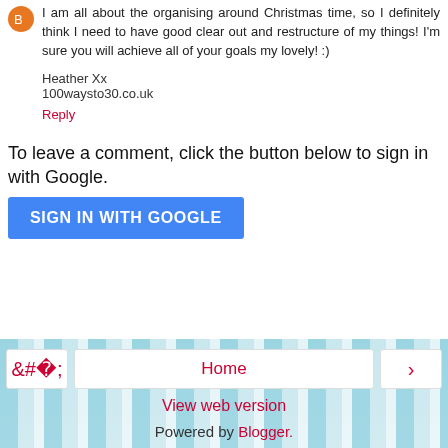I am all about the organising around Christmas time, so I definitely think I need to have good clear out and restructure of my things! I'm sure you will achieve all of your goals my lovely! :)
Heather Xx
100waysto30.co.uk
Reply
To leave a comment, click the button below to sign in with Google.
[Figure (other): Blue SIGN IN WITH GOOGLE button]
[Figure (other): Navigation footer with left arrow, Home button, right arrow, View web version link, and Powered by Blogger text on striped blue background]